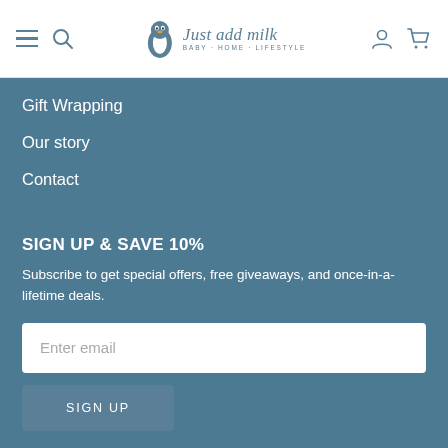Just add milk — Baby · Home · Lifestyle (navigation header with hamburger, search, account, cart icons)
Gift Wrapping
Our story
Contact
SIGN UP & SAVE 10%
Subscribe to get special offers, free giveaways, and once-in-a-lifetime deals.
Enter email
SIGN UP